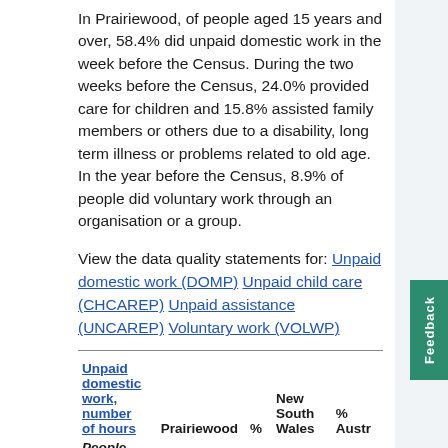In Prairiewood, of people aged 15 years and over, 58.4% did unpaid domestic work in the week before the Census. During the two weeks before the Census, 24.0% provided care for children and 15.8% assisted family members or others due to a disability, long term illness or problems related to old age. In the year before the Census, 8.9% of people did voluntary work through an organisation or a group.
View the data quality statements for: Unpaid domestic work (DOMP) Unpaid child care (CHCAREP) Unpaid assistance (UNCAREP) Voluntary work (VOLWP)
| Unpaid domestic work, number of hours | Prairiewood | % | New South Wales | % Austr |
| --- | --- | --- | --- | --- |
| People aged 15 |  |  |  |  |